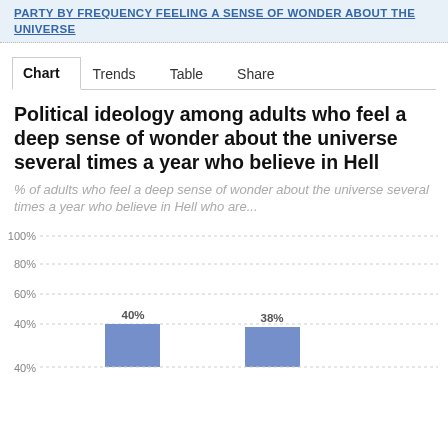PARTY BY FREQUENCY FEELING A SENSE OF WONDER ABOUT THE UNIVERSE
Chart	Trends	Table	Share
Political ideology among adults who feel a deep sense of wonder about the universe several times a year who believe in Hell
% of adults who feel a deep sense of wonder about the universe several times a year who believe in Hell who are...
[Figure (bar-chart): Political ideology among adults who feel a deep sense of wonder about the universe several times a year who believe in Hell]